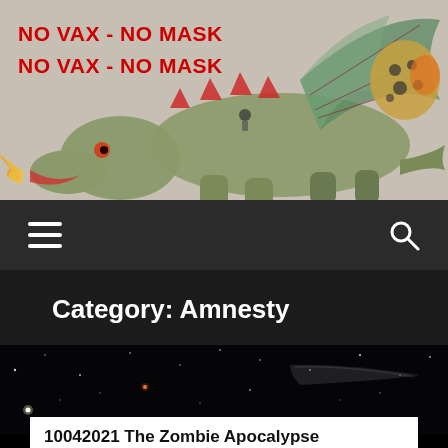[Figure (illustration): Header image showing a medieval-style dragon/beast creature with wings against a mottled grey background, with text 'NO VAX - NO MASK' repeated twice in red bold letters at the top left]
NO VAX - NO MASK
NO VAX - NO MASK
[Figure (other): Dark navigation bar with white hamburger menu icon on left and white search (magnifying glass) icon on right]
Category: Amnesty
[Figure (photo): Dark space/astronomical image showing stars and a galaxy against a black background]
10042021 The Zombie Apocalypse